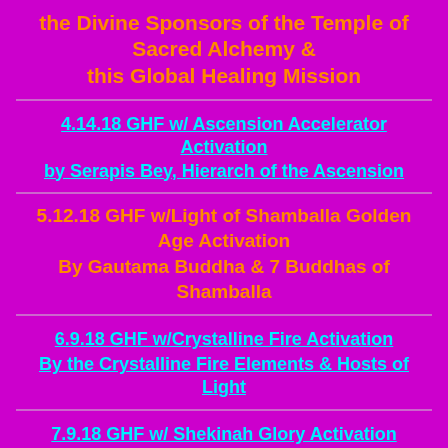the Divine Sponsors of the Temple of Sacred Alchemy & this Global Healing Mission
4.14.18 GHF w/ Ascension Accelerator Activation by Serapis Bey, Hierarch of the Ascension
5.12.18 GHF w/Light of Shamballa Golden Age Activation By Gautama Buddha & 7 Buddhas of Shamballa
6.9.18 GHF w/Crystalline Fire Activation By the Crystalline Fire Elements & Hosts of Light
7.9.18 GHF w/ Shekinah Glory Activation by Alpha & Omega, Representatives of the Father/Mother God,